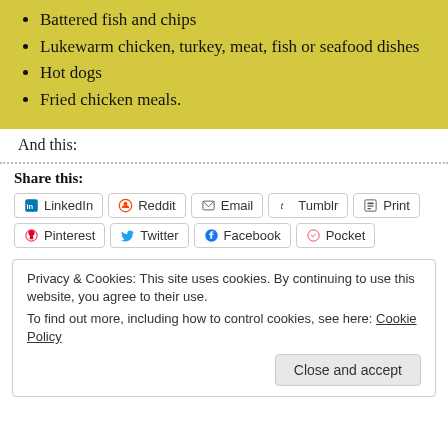Battered fish and chips
Lukewarm chicken, turkey, meat, fish or seafood dishes
Hot dogs
Fried chicken meals.
And this:
Share this:
LinkedIn Reddit Email Tumblr Print Pinterest Twitter Facebook Pocket
Privacy & Cookies: This site uses cookies. By continuing to use this website, you agree to their use.
To find out more, including how to control cookies, see here: Cookie Policy
Close and accept